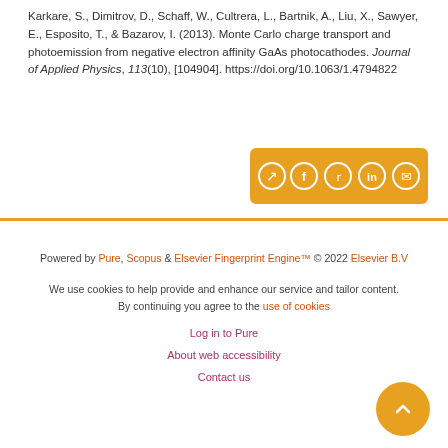Karkare, S., Dimitrov, D., Schaff, W., Cultrera, L., Bartnik, A., Liu, X., Sawyer, E., Esposito, T., & Bazarov, I. (2013). Monte Carlo charge transport and photoemission from negative electron affinity GaAs photocathodes. Journal of Applied Physics, 113(10), [104904]. https://doi.org/10.1063/1.4794822
[Figure (other): Social share buttons bar: share, facebook, twitter, linkedin, email icons on orange/gold background]
Powered by Pure, Scopus & Elsevier Fingerprint Engine™ © 2022 Elsevier B.V
We use cookies to help provide and enhance our service and tailor content. By continuing you agree to the use of cookies
Log in to Pure
About web accessibility
Contact us